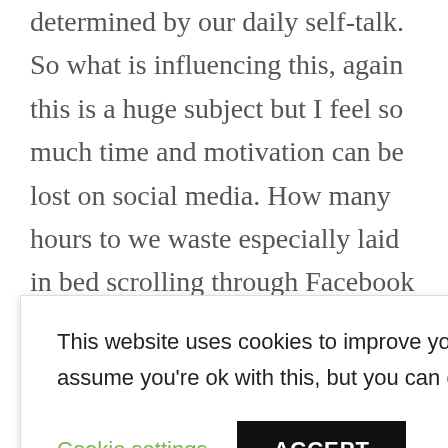determined by our daily self-talk. So what is influencing this, again this is a huge subject but I feel so much time and motivation can be lost on social media. How many hours to we waste especially laid in bed scrolling through Facebook etc. Wouldn't that time be
This website uses cookies to improve your experience. We'll assume you're ok with this, but you can opt-out if you wish.
This might not be revolutionary but try